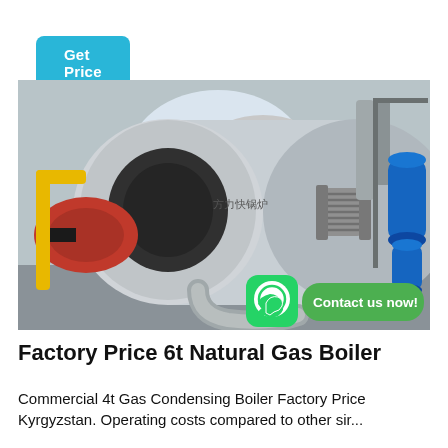Get Price
[Figure (photo): Industrial natural gas boiler system in a factory setting. A large cylindrical silver boiler with red burner on the left, yellow gas pipes, corrugated metal flexible couplings, silver exhaust pipes, and blue pressure tanks on the right. Chinese characters on boiler. Green WhatsApp icon and 'Contact us now!' button overlaid at bottom right.]
Factory Price 6t Natural Gas Boiler
Commercial 4t Gas Condensing Boiler Factory Price Kyrgyzstan. Operating costs compared to other sir...